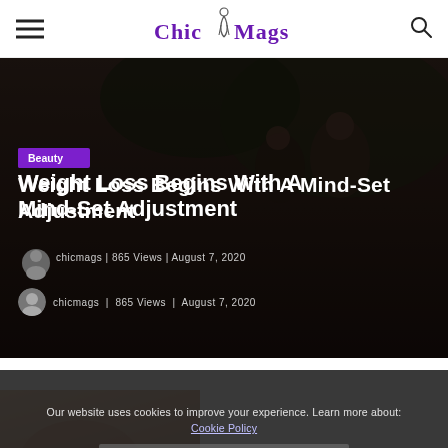Chic Mags
[Figure (photo): Dark hero image of people outdoors, laughing, with trees in background]
Beauty
Weight Loss Begins With A Mind-Set Adjustment
chicmags | 865 Views | August 7, 2020
[Figure (photo): Partial image of a person's torso/arm visible at bottom of page]
Our website uses cookies to improve your experience. Learn more about: Cookie Policy
Accept